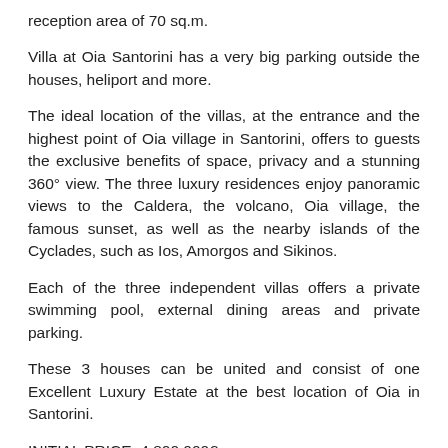reception area of 70 sq.m.
Villa at Oia Santorini has a very big parking outside the houses, heliport and more.
The ideal location of the villas, at the entrance and the highest point of Oia village in Santorini, offers to guests the exclusive benefits of space, privacy and a stunning 360° view. The three luxury residences enjoy panoramic views to the Caldera, the volcano, Oia village, the famous sunset, as well as the nearby islands of the Cyclades, such as Ios, Amorgos and Sikinos.
Each of the three independent villas offers a private swimming pool, external dining areas and private parking.
These 3 houses can be united and consist of one Excellent Luxury Estate at the best location of Oia in Santorini.
INITIAL PRICE: 4.800.000€